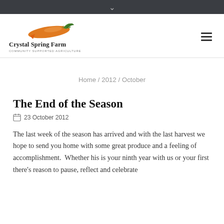v
[Figure (logo): Crystal Spring Farm logo with carrot illustration above text 'Crystal Spring Farm' and subtitle 'Community Supported Agriculture']
Home / 2012 / October
The End of the Season
23 October 2012
The last week of the season has arrived and with the last harvest we hope to send you home with some great produce and a feeling of accomplishment.  Whether his is your ninth year with us or your first there's reason to pause, reflect and celebrate